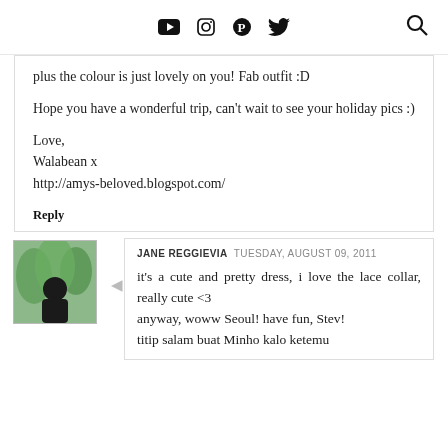[social media icons: YouTube, Instagram, Pinterest, Twitter, Search]
plus the colour is just lovely on you! Fab outfit :D

Hope you have a wonderful trip, can't wait to see your holiday pics :)

Love,
Walabean x
http://amys-beloved.blogspot.com/
Reply
JANE REGGIEVIA  TUESDAY, AUGUST 09, 2011
it's a cute and pretty dress, i love the lace collar, really cute <3
anyway, woww Seoul! have fun, Stev!
titip salam buat Minho kalo ketemu